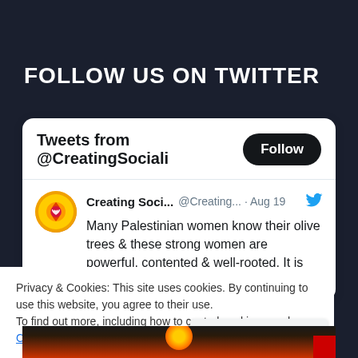FOLLOW US ON TWITTER
[Figure (screenshot): Twitter embedded widget showing 'Tweets from @CreatingSociali' with a Follow button and a tweet by 'Creating Soci...' (@Creating... · Aug 19): 'Many Palestinian women know their olive trees & these strong women are powerful, contented & well-rooted. It is hard for those']
Privacy & Cookies: This site uses cookies. By continuing to use this website, you agree to their use.
To find out more, including how to control cookies, see here: Cookie Policy
Close and accept